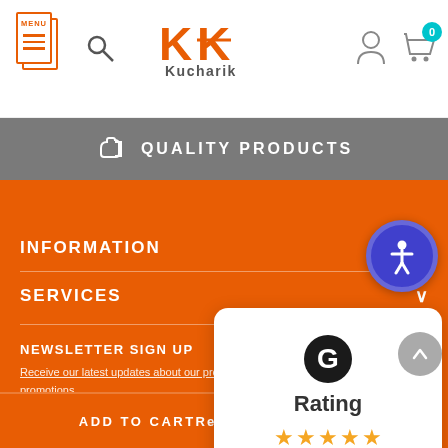[Figure (screenshot): Kucharik website header with menu icon, search icon, Kucharik logo, user icon, and cart with 0 badge]
QUALITY PRODUCTS
INFORMATION
SERVICES
NEWSLETTER SIGN UP
Receive our latest updates about our products and promotions.
[Figure (screenshot): Google Rating widget showing G logo, the word Rating, and 5 gold stars, with a scroll-up button]
[Figure (screenshot): Accessibility icon button (blue circle with wheelchair/person icon)]
ADD TO CART